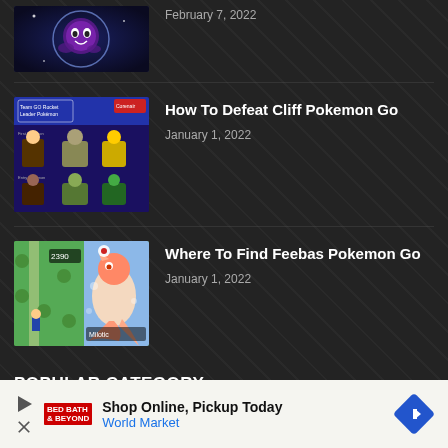[Figure (screenshot): Thumbnail of Gastly Pokemon Go article – dark blue background with purple ghost pokemon]
February 7, 2022
[Figure (screenshot): Thumbnail of Team GO Rocket Leader Pokemon guide showing multiple Pokemon characters in a grid]
How To Defeat Cliff Pokemon Go
January 1, 2022
[Figure (screenshot): Thumbnail of Feebas Pokemon Go – game map with Milotic/Feebas character visible]
Where To Find Feebas Pokemon Go
January 1, 2022
POPULAR CATEGORY
Editor Picks340
[Figure (other): Advertisement banner: Shop Online, Pickup Today – World Market with navigation arrow icon]